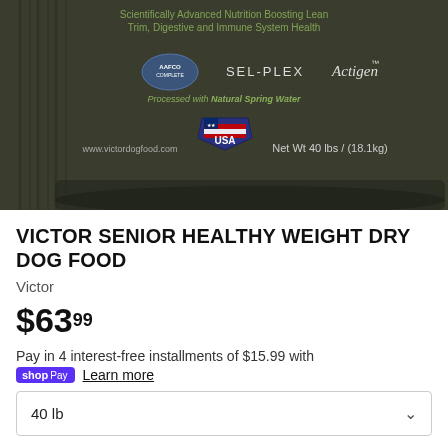[Figure (photo): Victor Senior Healthy Weight dry dog food bag, dark olive/green color, showing logos for Sel-Plex and Actigen, 'Processed with Natural Spring Water', USA made badge, and Net Wt 40 lbs / (18.1kg), www.victordogfood.com]
VICTOR SENIOR HEALTHY WEIGHT DRY DOG FOOD
Victor
$63.99
Pay in 4 interest-free installments of $15.99 with
shop Pay  Learn more
40 lb